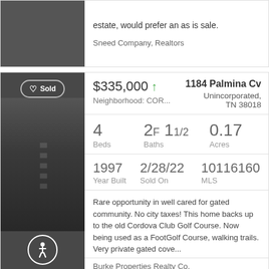estate, would prefer an as is sale.
Sneed Company, Realtors
$335,000 ↑
1184 Palmina Cv
Unincorporated, TN 38018
Neighborhood: COR...
4 Beds
2F 1 1/2 Baths
0.17 Acres
1997 Year Built
2/28/22 Sold On
10116160 MLS
Rare opportunity in well cared for gated community. No city taxes! This home backs up to the old Cordova Club Golf Course. Now being used as a FootGolf Course, walking trails. Very private gated cove...
Burke Properties Realty Co.